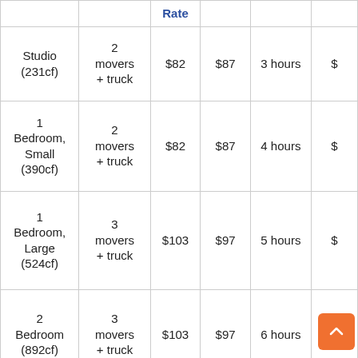| Home Size | Crew Size | Weekday Rate | Weekend Rate | Estimated Time | Estimated Cost |
| --- | --- | --- | --- | --- | --- |
| Studio (231cf) | 2 movers + truck | $82 | $87 | 3 hours | $... |
| 1 Bedroom, Small (390cf) | 2 movers + truck | $82 | $87 | 4 hours | $... |
| 1 Bedroom, Large (524cf) | 3 movers + truck | $103 | $97 | 5 hours | $... |
| 2 Bedroom (892cf) | 3 movers + truck | $103 | $97 | 6 hours | $... |
| 3 ... | 4 ... | $131 | $131 | 7 hou... | $1... |